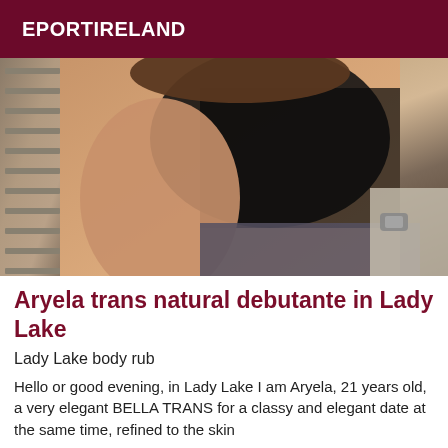EPORTIRELAND
[Figure (photo): Photo of a person wearing black lace lingerie and stockings]
Aryela trans natural debutante in Lady Lake
Lady Lake body rub
Hello or good evening, in Lady Lake I am Aryela, 21 years old, a very elegant BELLA TRANS for a classy and elegant date at the same time, refined to the skin